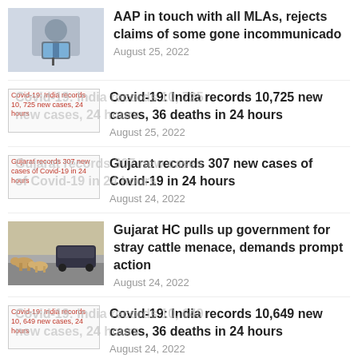[Figure (photo): Man speaking at a podium with microphone]
AAP in touch with all MLAs, rejects claims of some gone incommunicado
August 25, 2022
[Figure (other): Broken image placeholder: Covid-19: India records 10,725 new cases, 24 hours]
Covid-19: India records 10,725 new cases, 36 deaths in 24 hours
August 25, 2022
[Figure (other): Broken image placeholder: Gujarat records 307 new cases of Covid-19 in 24 hours]
Gujarat records 307 new cases of Covid-19 in 24 hours
August 24, 2022
[Figure (photo): Stray cattle on road with cars]
Gujarat HC pulls up government for stray cattle menace, demands prompt action
August 24, 2022
[Figure (other): Broken image placeholder: Covid-19: India records 10,649 new cases, 24 hours]
Covid-19: India records 10,649 new cases, 36 deaths in 24 hours
August 24, 2022